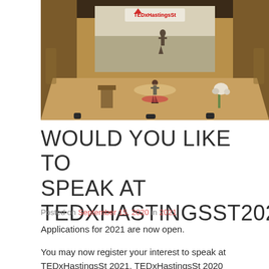[Figure (photo): TEDxHastingsSt event photo showing a speaker on a wooden stage in a concert hall. A large projection screen behind shows the TEDxHastingsSt logo and a landscape image. The venue has wooden paneled walls and warm lighting.]
WOULD YOU LIKE TO SPEAK AT TEDXHASTINGSST2021?
Posted on September 15, 2020 in 2021
Applications for 2021 are now open.
You may now register your interest to speak at TEDxHastingsSt 2021. TEDxHastingsSt 2020